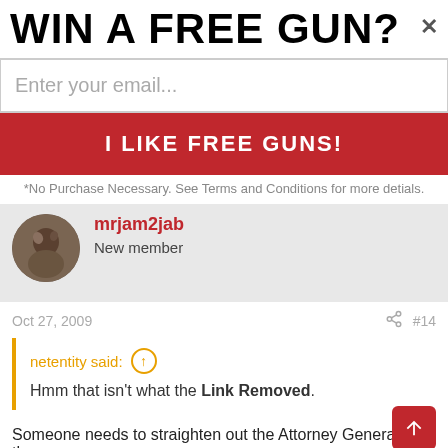WIN A FREE GUN?
Enter your email...
I LIKE FREE GUNS!
*No Purchase Necessary. See Terms and Conditions for more detials.
mrjam2jab
New member
Oct 27, 2009   #14
netentity said:
Hmm that isn't what the Link Removed.
Someone needs to straighten out the Attorney General the...